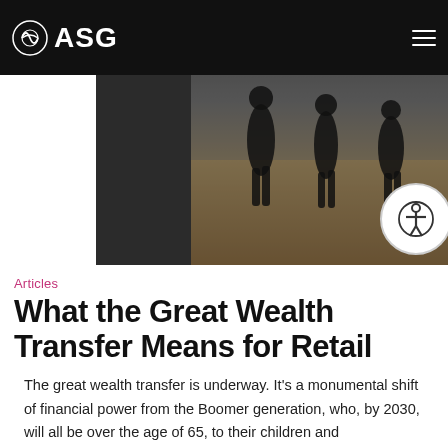ASG
[Figure (photo): Three people silhouetted against a waterfront background, captured from below against dramatic light. Navigation bar with ASG logo overlaid at top.]
Articles
What the Great Wealth Transfer Means for Retail
The great wealth transfer is underway. It’s a monumental shift of financial power from the Boomer generation, who, by 2030, will all be over the age of 65, to their children and grandchildren (Millennials